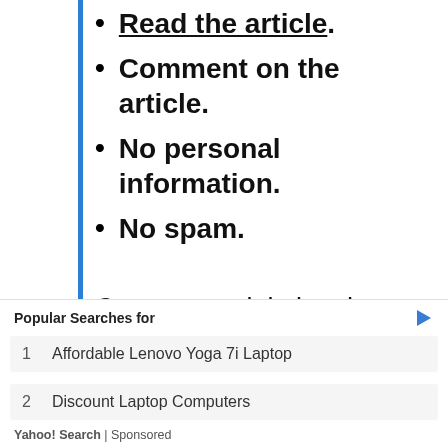Read the article.
Comment on the article.
No personal information.
No spam.
Comments violating those rules will be removed. Comments that don't add value will be removed, including off-topic or content-free comments, or comments that look even a little bit like spam. All comments containing links and
Popular Searches for
1   Affordable Lenovo Yoga 7i Laptop
2   Discount Laptop Computers
Yahoo! Search | Sponsored